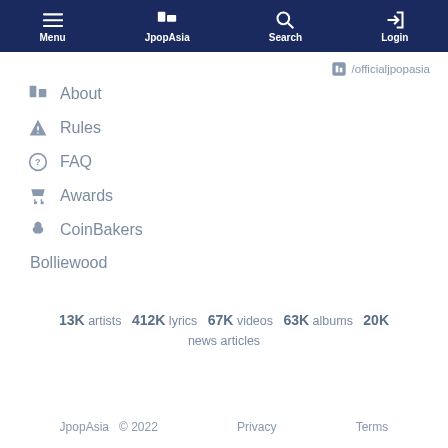Menu | JpopAsia | Search | Login
/officialjpopasia
About
Rules
FAQ
Awards
CoinBakers
Bolliewood
13K artists  412K lyrics  67K videos  63K albums  20K news articles
JpopAsia  © 2022  Privacy  Terms